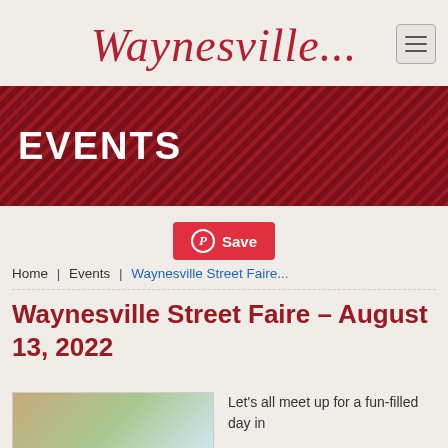Waynesville...
EVENTS
[Figure (other): Pinterest Save button with circular P logo]
Home | Events | Waynesville Street Faire...
Waynesville Street Faire – August 13, 2022
[Figure (photo): Photo of a street scene with buildings and trees]
Let's all meet up for a fun-filled day in